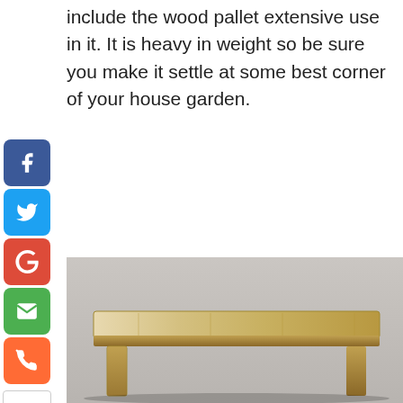include the wood pallet extensive use in it. It is heavy in weight so be sure you make it settle at some best corner of your house garden.
[Figure (photo): A wooden bench or table made from light-colored pale wood, photographed against a light background. The furniture piece appears to be a simple rustic design made from pallet wood.]